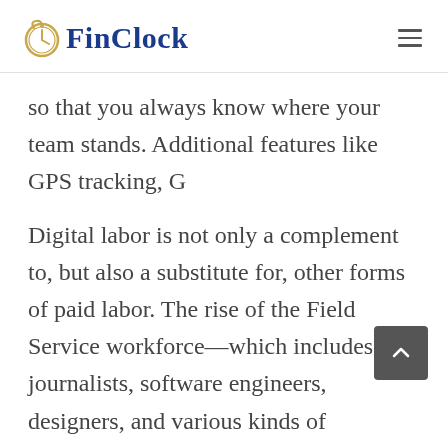FinClock
so that you always know where your team stands. Additional features like GPS tracking, G
Digital labor is not only a complement to, but also a substitute for, other forms of paid labor. The rise of the Field Service workforce—which includes journalists, software engineers, designers, and various kinds of consultants—represents the culmination of this trend.